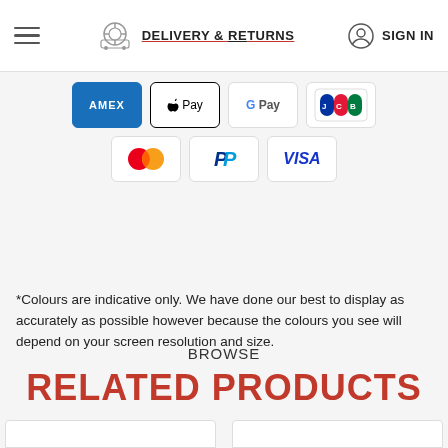DELIVERY & RETURNS  SIGN IN
[Figure (other): Payment method icons: American Express (Amex), Apple Pay, Google Pay, JCB, Mastercard, PayPal, Visa]
*Colours are indicative only. We have done our best to display as accurately as possible however because the colours you see will depend on your screen resolution and size.
BROWSE
RELATED PRODUCTS